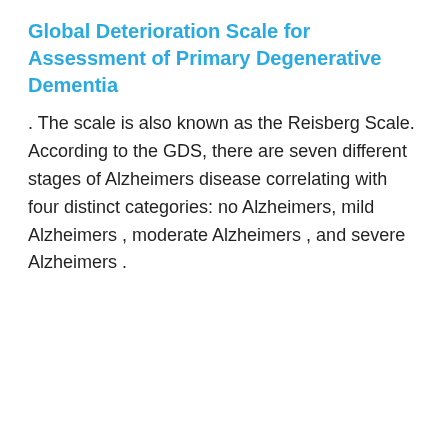Global Deterioration Scale for Assessment of Primary Degenerative Dementia
. The scale is also known as the Reisberg Scale. According to the GDS, there are seven different stages of Alzheimers disease correlating with four distinct categories: no Alzheimers, mild Alzheimers , moderate Alzheimers , and severe Alzheimers .